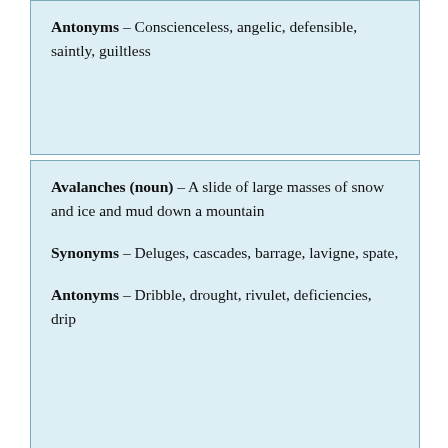Antonyms – Conscienceless, angelic, defensible, saintly, guiltless
Avalanches (noun) – A slide of large masses of snow and ice and mud down a mountain

Synonyms – Deluges, cascades, barrage, lavigne, spate,

Antonyms – Dribble, drought, rivulet, deficiencies, drip
Devastating (adjective) – Wreaking or capable of wreaking complete destruction

Synonyms – Ruinous, withering, annihilating,